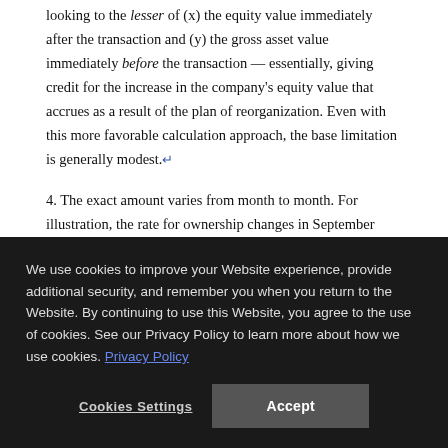looking to the lesser of (x) the equity value immediately after the transaction and (y) the gross asset value immediately before the transaction — essentially, giving credit for the increase in the company's equity value that accrues as a result of the plan of reorganization. Even with this more favorable calculation approach, the base limitation is generally modest.↵
4. The exact amount varies from month to month. For illustration, the rate for ownership changes in September 2019 is 1.89%.↵
5. Depending on the precise facts and circumstances of a given
We use cookies to improve your Website experience, provide additional security, and remember you when you return to the Website. By continuing to use this Website, you agree to the use of cookies. See our Privacy Policy to learn more about how we use cookies. Privacy Policy
Cookies Settings | Accept